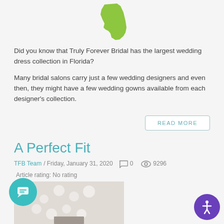[Figure (illustration): Green silhouette of the state of Florida map]
Did you know that Truly Forever Bridal has the largest wedding dress collection in Florida?
Many bridal salons carry just a few wedding designers and even then, they might have a few wedding gowns available from each designer's collection.
READ MORE
A Perfect Fit
TFB Team / Friday, January 31, 2020   0   9296   Article rating: No rating
[Figure (photo): Photo of wedding dress fabric/sewing detail, partially visible at bottom of page]